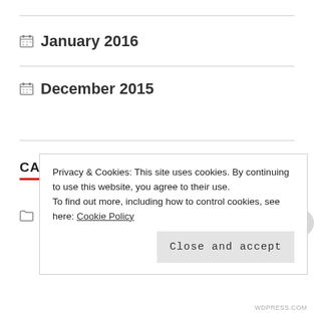January 2016
December 2015
CATEGORIES
#Metoo
Privacy & Cookies: This site uses cookies. By continuing to use this website, you agree to their use. To find out more, including how to control cookies, see here: Cookie Policy
Close and accept